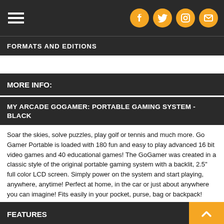FORMATS AND EDITIONS
MORE INFO:
MY ARCADE GOGAMER: PORTABLE GAMING SYSTEM - BLACK
Soar the skies, solve puzzles, play golf or tennis and much more. Go Gamer Portable is loaded with 180 fun and easy to play advanced 16 bit video games and 40 educational games! The GoGamer was created in a classic style of the original portable gaming system with a backlit, 2.5" full color LCD screen. Simply power on the system and start playing, anywhere, anytime! Perfect at home, in the car or just about anywhere you can imagine! Fits easily in your pocket, purse, bag or backpack!
FEATURES
220 built-in hires 16 bit retro style games - combination of